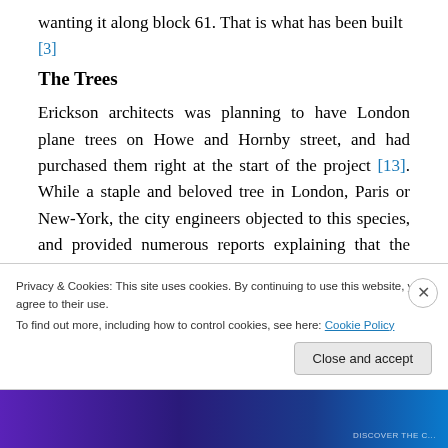wanting it along block 61. That is what has been built
[3]
The Trees
Erickson architects was planning to have London plane trees on Howe and Hornby street, and had purchased them right at the start of the project [13]. While a staple and beloved tree in London, Paris or New-York, the city engineers objected to this species, and provided numerous reports explaining that the Acer rubrum was a better choice. This curious bickering could have passably
Privacy & Cookies: This site uses cookies. By continuing to use this website, you agree to their use.
To find out more, including how to control cookies, see here: Cookie Policy
Close and accept